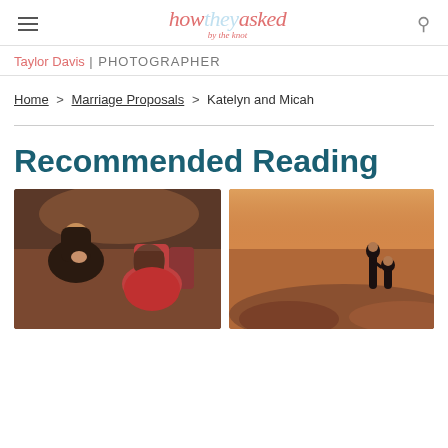how they asked by the knot
Taylor Davis | PHOTOGRAPHER
Home > Marriage Proposals > Katelyn and Micah
Recommended Reading
[Figure (photo): Indoor proposal photo: woman covering mouth in surprise, man kneeling in red sweater]
[Figure (photo): Outdoor desert proposal photo: couple silhouetted against warm sunset landscape]